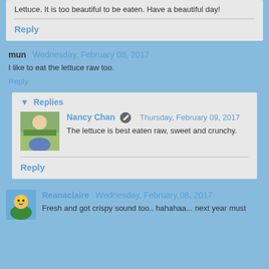Lettuce. It is too beautiful to be eaten. Have a beautiful day!
Reply
mun  Wednesday, February 08, 2017
I like to eat the lettuce raw too.
Reply
Replies
Nancy Chan  Thursday, February 09, 2017
The lettuce is best eaten raw, sweet and crunchy.
Reply
Reanaclaire  Wednesday, February 08, 2017
Fresh and got crispy sound too.. hahahaa... next year must